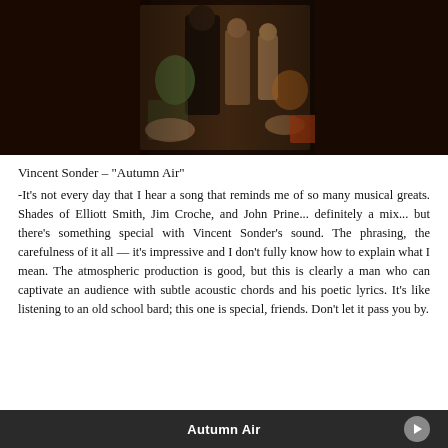[Figure (photo): Album art collage for Vincent Sonder 'Autumn Air' — vintage black and white and color photographs of figures, set against dark brown/black background]
Vincent Sonder – "Autumn Air"
-It's not every day that I hear a song that reminds me of so many musical greats. Shades of Elliott Smith, Jim Croche, and John Prine... definitely a mix... but there's something special with Vincent Sonder's sound. The phrasing, the carefulness of it all — it's impressive and I don't fully know how to explain what I mean. The atmospheric production is good, but this is clearly a man who can captivate an audience with subtle acoustic chords and his poetic lyrics. It's like listening to an old school bard; this one is special, friends. Don't let it pass you by.
Autumn Air